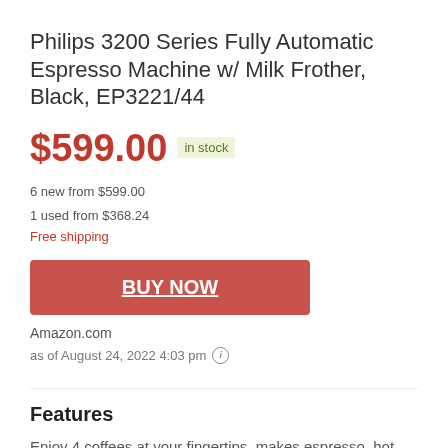Philips 3200 Series Fully Automatic Espresso Machine w/ Milk Frother, Black, EP3221/44
$599.00 in stock
6 new from $599.00
1 used from $368.24
Free shipping
BUY NOW
Amazon.com
as of August 24, 2022 4:03 pm
Features
Enjoy 4 coffees at your fingertips, makes espresso, hot water, coffee, Americano, Espresso Lungo